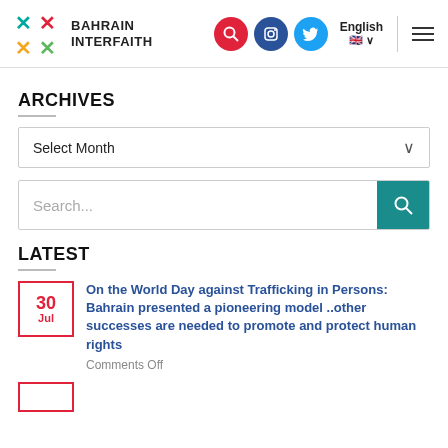Bahrain Interfaith — navigation header with logo, search, Instagram, Twitter, English language selector, and menu
ARCHIVES
Select Month
Search...
LATEST
30 Jul — On the World Day against Trafficking in Persons: Bahrain presented a pioneering model ..other successes are needed to promote and protect human rights — Comments Off